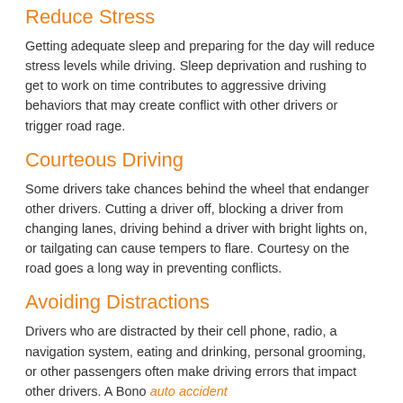Reduce Stress
Getting adequate sleep and preparing for the day will reduce stress levels while driving. Sleep deprivation and rushing to get to work on time contributes to aggressive driving behaviors that may create conflict with other drivers or trigger road rage.
Courteous Driving
Some drivers take chances behind the wheel that endanger other drivers. Cutting a driver off, blocking a driver from changing lanes, driving behind a driver with bright lights on, or tailgating can cause tempers to flare. Courtesy on the road goes a long way in preventing conflicts.
Avoiding Distractions
Drivers who are distracted by their cell phone, radio, a navigation system, eating and drinking, personal grooming, or other passengers often make driving errors that impact other drivers. A Bono auto accident